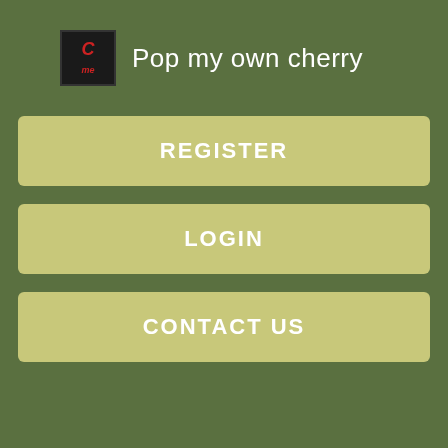Pop my own cherry
REGISTER
LOGIN
CONTACT US
The outcome was satisfactory in all patients with retained erectile function. Early medical attention and management is the key to success in penile constriction injury cases and to avoid complications and morbidity.
Prompt removal can be challenging in cases of metal